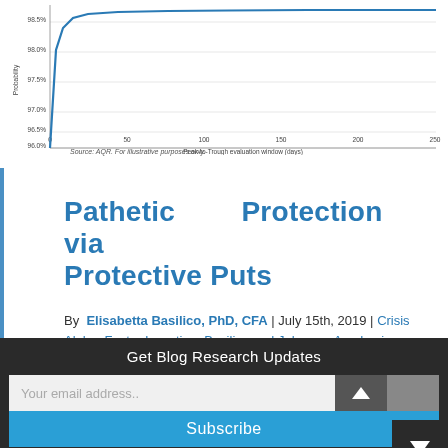[Figure (continuous-plot): Line chart (partial, top portion visible) showing Probability on y-axis (values around 96.0% to 98.5%) vs Peak-to-Trough evaluation window (days) on x-axis (0 to 250). A blue line rises steeply near 0 and then levels off. Source: AQR. For illustrative purposes only.]
Source: AQR. For illustrative purposes only.
Pathetic Protection via Protective Puts
By Elisabetta Basilico, PhD, CFA | July 15th, 2019 | Crisis Alpha, Factor Investing, Basilico and Johnsen, Academic Research Insight, Managed Futures Research